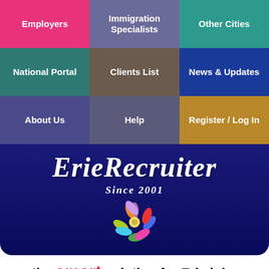[Figure (screenshot): Navigation grid with 9 colored cells: Employers (pink), Immigration Specialists (purple), Other Cities (teal), National Portal (teal), Clients List (brown), News & Updates (blue), About Us (indigo), Help (slate), Register/Log In (gold)]
ErieRecruiter
Since 2001
[Figure (illustration): Colorful flower/people icon with figures in multiple colors arranged in a circular pattern]
the smart solution for Erie jobs
[Figure (infographic): Social media sharing buttons: Facebook, Messenger, Twitter, LinkedIn, Email, More]